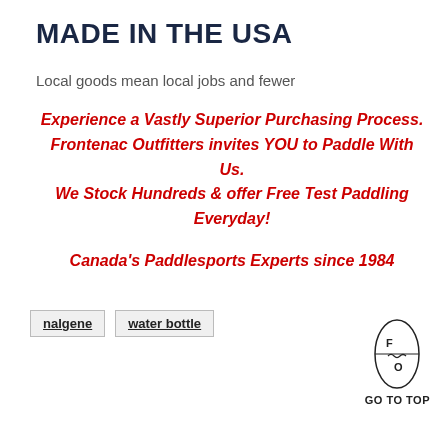MADE IN THE USA
Local goods mean local jobs and fewer
Experience a Vastly Superior Purchasing Process. Frontenac Outfitters invites YOU to Paddle With Us. We Stock Hundreds & offer Free Test Paddling Everyday!
Canada's Paddlesports Experts since 1984
nalgene
water bottle
[Figure (logo): Frontenac Outfitters logo - oval/leaf shape with F and O letters and a line through the middle]
GO TO TOP